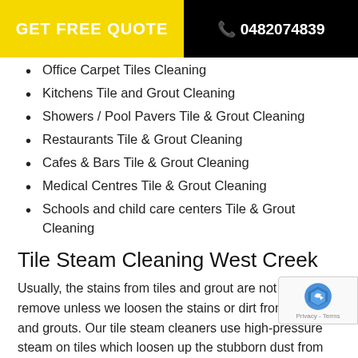GET FREE QUOTE | 0482074839
Office Carpet Tiles Cleaning
Kitchens Tile and Grout Cleaning
Showers / Pool Pavers Tile & Grout Cleaning
Restaurants Tile & Grout Cleaning
Cafes & Bars Tile & Grout Cleaning
Medical Centres Tile & Grout Cleaning
Schools and child care centers Tile & Grout Cleaning
Tile Steam Cleaning West Creek
Usually, the stains from tiles and grout are not easy to remove unless we loosen the stains or dirt from the tiles and grouts. Our tile steam cleaners use high-pressure steam on tiles which loosen up the stubborn dust from your tiles and with tile scrubbing machine our tile cleaning technicians will professionally clean your tiles making them spot free. So, hie us now get the bathroom steam